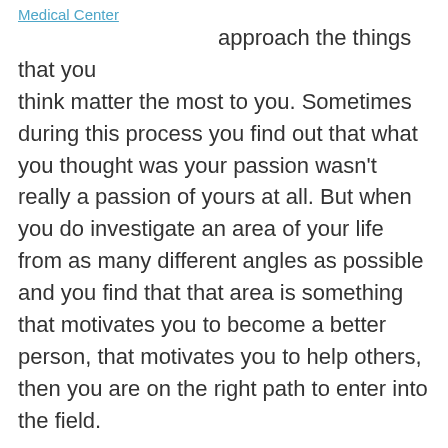Medical Center
approach the things that you think matter the most to you. Sometimes during this process you find out that what you thought was your passion wasn't really a passion of yours at all. But when you do investigate an area of your life from as many different angles as possible and you find that that area is something that motivates you to become a better person, that motivates you to help others, then you are on the right path to enter into the field.
One of my favorite aspects of my own career has been that it has always allowed me the opportunity to learn. I love to learn. I love to